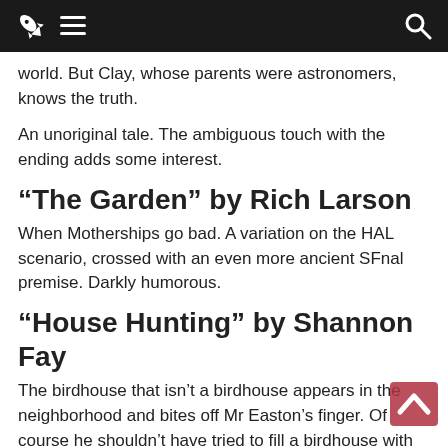Navigation bar with rocket logo, hamburger menu, and search icon
world. But Clay, whose parents were astronomers, knows the truth.
An unoriginal tale. The ambiguous touch with the ending adds some interest.
“The Garden” by Rich Larson
When Motherships go bad. A variation on the HAL scenario, crossed with an even more ancient SFnal premise. Darkly humorous.
“House Hunting” by Shannon Fay
The birdhouse that isn’t a birdhouse appears in the neighborhood and bites off Mr Easton’s finger. Of course he shouldn’t have tried to fill a birdhouse with birdseed. The homeless guy tells them it isn’t a